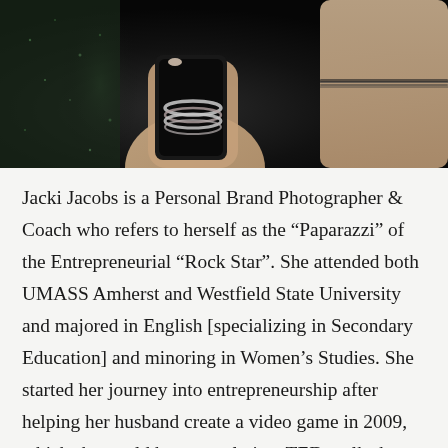[Figure (photo): Close-up photo of two people at an event. One person wearing bangles/bracelets holds a black phone or object; another person's arm with a thin bracelet is visible on the right. Dark, glittery background.]
Jacki Jacobs is a Personal Brand Photographer & Coach who refers to herself as the “Paparazzi” of the Entrepreneurial “Rock Star”. She attended both UMASS Amherst and Westfield State University and majored in English [specializing in Secondary Education] and minoring in Women’s Studies. She started her journey into entrepreneurship after helping her husband create a video game in 2009, which she retold humorously in a TEDx talk she gave in 2017 titled: Video Game Design: A Love Story. During this inspirational moment where she spoke about the road less taken, she had a powerful epiphany: building confidence in women business owners